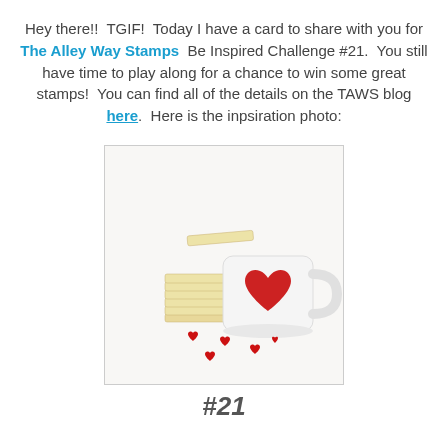Hey there!!  TGIF!  Today I have a card to share with you for The Alley Way Stamps  Be Inspired Challenge #21.  You still have time to play along for a chance to win some great stamps!  You can find all of the details on the TAWS blog here.  Here is the inpsiration photo:
[Figure (photo): A white coffee mug with a large red heart on it, next to a stack of square shortbread cookies, with small red candy hearts scattered on the white surface.]
#21